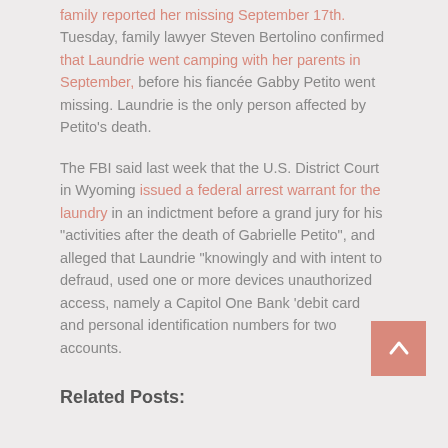family reported her missing September 17th. Tuesday, family lawyer Steven Bertolino confirmed that Laundrie went camping with her parents in September, before his fiancée Gabby Petito went missing. Laundrie is the only person affected by Petito's death.
The FBI said last week that the U.S. District Court in Wyoming issued a federal arrest warrant for the laundry in an indictment before a grand jury for his "activities after the death of Gabrielle Petito", and alleged that Laundrie "knowingly and with intent to defraud, used one or more devices unauthorized access, namely a Capitol One Bank 'debit card and personal identification numbers for two accounts.
Related Posts: